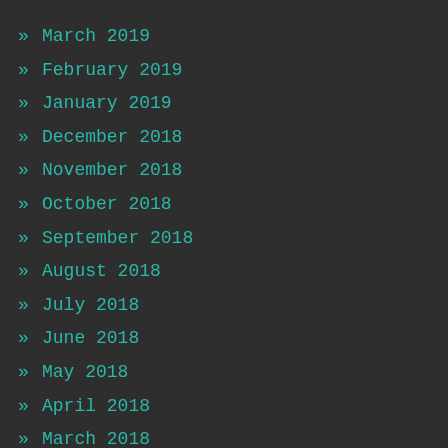» March 2019
» February 2019
» January 2019
» December 2018
» November 2018
» October 2018
» September 2018
» August 2018
» July 2018
» June 2018
» May 2018
» April 2018
» March 2018
» February 2018